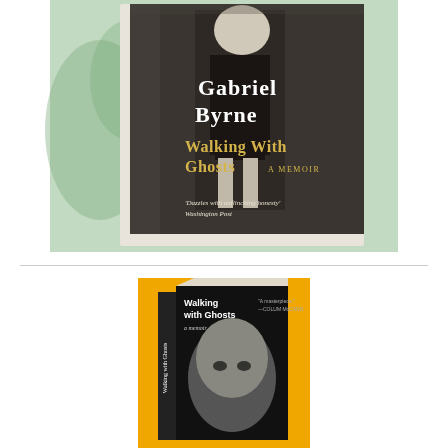[Figure (illustration): Book cover of 'Walking With Ghosts: A Memoir' by Gabriel Byrne. Features a black and white photo of a young boy in school uniform against a green watercolor background. White text reads 'Gabriel Byrne' and 'Walking With Ghosts A MEMOIR'. A quote reads 'Dazzles with unflinching honesty' Washington Post.]
[Figure (photo): Physical book of 'Walking With Ghosts: a memoir' shown standing upright against a yellow/orange background. The cover shows a black and white portrait of Gabriel Byrne's face. The spine and cover are visible.]